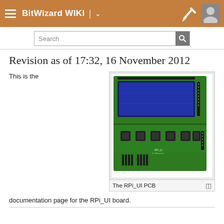BitWizard WIKI
Revision as of 17:32, 16 November 2012
This is the
[Figure (photo): Photo of the RPi_UI PCB — a green circuit board with a blue LCD display on top and six push buttons on the bottom row, with pin headers on the edges.]
The RPi_UI PCB
documentation page for the RPi_UI board.